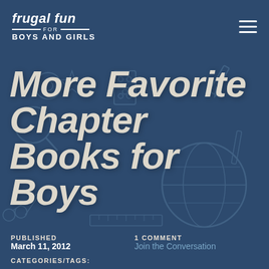frugal fun for BOYS AND GIRLS
More Favorite Chapter Books for Boys
PUBLISHED
March 11, 2012
1 COMMENT
Join the Conversation
CATEGORIES/TAGS: